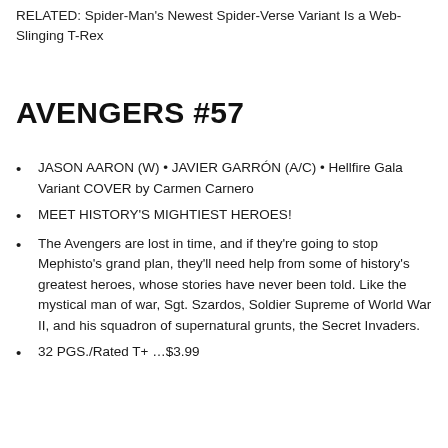RELATED: Spider-Man's Newest Spider-Verse Variant Is a Web-Slinging T-Rex
AVENGERS #57
JASON AARON (W) • JAVIER GARRÓN (A/C) • Hellfire Gala Variant COVER by Carmen Carnero
MEET HISTORY'S MIGHTIEST HEROES!
The Avengers are lost in time, and if they're going to stop Mephisto's grand plan, they'll need help from some of history's greatest heroes, whose stories have never been told. Like the mystical man of war, Sgt. Szardos, Soldier Supreme of World War II, and his squadron of supernatural grunts, the Secret Invaders.
32 PGS./Rated T+ …$3.99